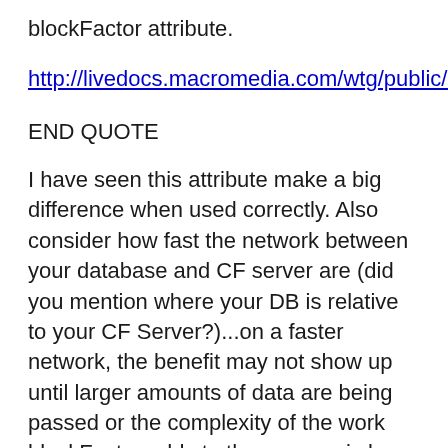blockFactor attribute.
http://livedocs.macromedia.com/wtg/public/codin
END QUOTE
I have seen this attribute make a big difference when used correctly. Also consider how fast the network between your database and CF server are (did you mention where your DB is relative to your CF Server?)...on a faster network, the benefit may not show up until larger amounts of data are being passed or the complexity of the work blockFactor adds to the process is less than the benefit it